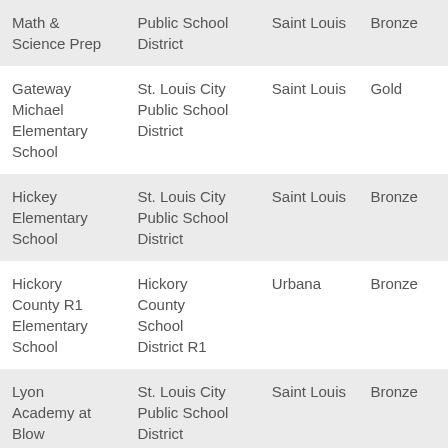| Math & Science Prep | Public School District | Saint Louis | Bronze |
| Gateway Michael Elementary School | St. Louis City Public School District | Saint Louis | Gold |
| Hickey Elementary School | St. Louis City Public School District | Saint Louis | Bronze |
| Hickory County R1 Elementary School | Hickory County School District R1 | Urbana | Bronze |
| Lyon Academy at Blow | St. Louis City Public School District | Saint Louis | Bronze |
| Monett | Monett |  |  |